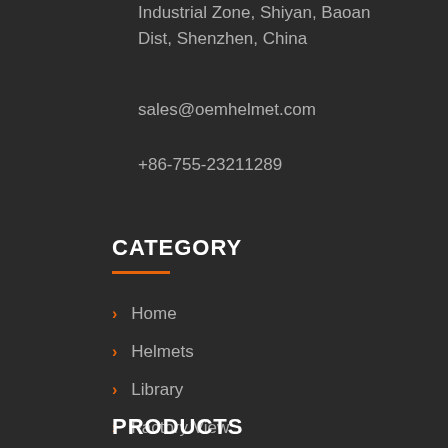Industrial Zone, Shiyan, Baoan Dist, Shenzhen, China
sales@oemhelmet.com
+86-755-23211289
CATEGORY
Home
Helmets
Library
Factory View
About & Contact
PRODUCTS